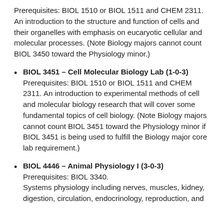Prerequisites: BIOL 1510 or BIOL 1511 and CHEM 2311. An introduction to the structure and function of cells and their organelles with emphasis on eucaryotic cellular and molecular processes. (Note Biology majors cannot count BIOL 3450 toward the Physiology minor.)
BIOL 3451 – Cell Molecular Biology Lab (1-0-3) Prerequisites: BIOL 1510 or BIOL 1511 and CHEM 2311. An introduction to experimental methods of cell and molecular biology research that will cover some fundamental topics of cell biology. (Note Biology majors cannot count BIOL 3451 toward the Physiology minor if BIOL 3451 is being used to fulfill the Biology major core lab requirement.)
BIOL 4446 – Animal Physiology I (3-0-3) Prerequisites: BIOL 3340. Systems physiology including nerves, muscles, kidney, digestion, circulation, endocrinology, reproduction, and